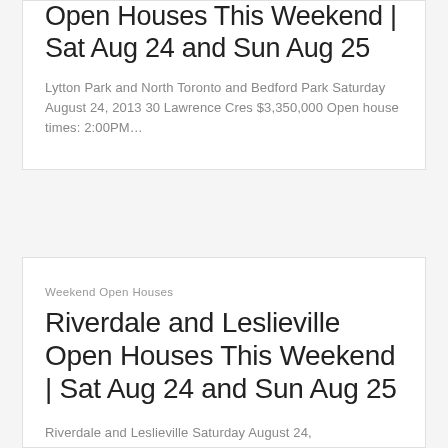Open Houses This Weekend | Sat Aug 24 and Sun Aug 25
Lytton Park and North Toronto and Bedford Park Saturday August 24, 2013 30 Lawrence Cres $3,350,000 Open house times: 2:00PM...
Weekend Open Houses
Riverdale and Leslieville Open Houses This Weekend | Sat Aug 24 and Sun Aug 25
Riverdale and Leslieville Saturday August 24,